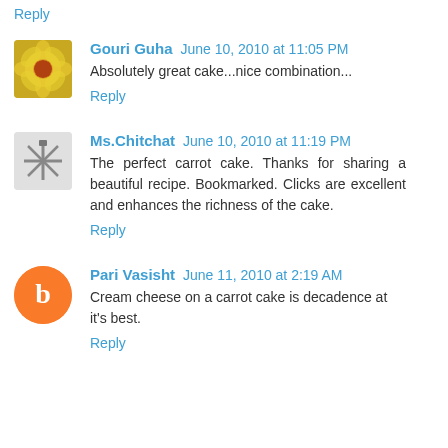Reply
Gouri Guha  June 10, 2010 at 11:05 PM
Absolutely great cake...nice combination...
Reply
Ms.Chitchat  June 10, 2010 at 11:19 PM
The perfect carrot cake. Thanks for sharing a beautiful recipe. Bookmarked. Clicks are excellent and enhances the richness of the cake.
Reply
Pari Vasisht  June 11, 2010 at 2:19 AM
Cream cheese on a carrot cake is decadence at it's best.
Reply